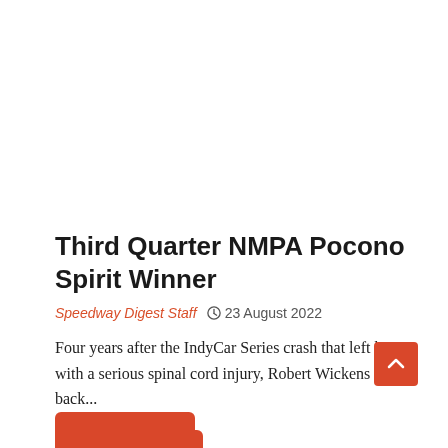Third Quarter NMPA Pocono Spirit Winner
Speedway Digest Staff  23 August 2022
Four years after the IndyCar Series crash that left him with a serious spinal cord injury, Robert Wickens is back...
Read more...